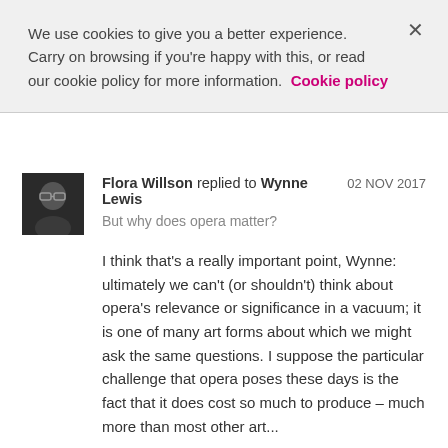We use cookies to give you a better experience. Carry on browsing if you're happy with this, or read our cookie policy for more information. Cookie policy
Flora Willson replied to Wynne Lewis   02 NOV 2017
But why does opera matter?
I think that's a really important point, Wynne: ultimately we can't (or shouldn't) think about opera's relevance or significance in a vacuum; it is one of many art forms about which we might ask the same questions. I suppose the particular challenge that opera poses these days is the fact that it does cost so much to produce – much more than most other art...